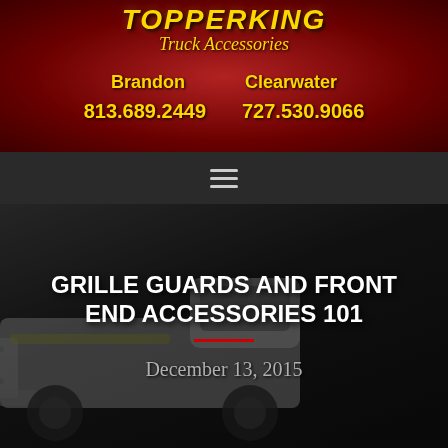[Figure (logo): TopperKing Truck Accessories logo with gold italic text on dark red background, showing two store locations with palm trees]
Brandon    Clearwater
813.689.2449    727.530.9066
[Figure (screenshot): Navigation bar with hamburger menu icon on dark grey background]
[Figure (photo): Dark dramatic photo of a white truck with bull bar grille guard and LED light bar at the front]
GRILLE GUARDS AND FRONT END ACCESSORIES 101
December 13, 2015